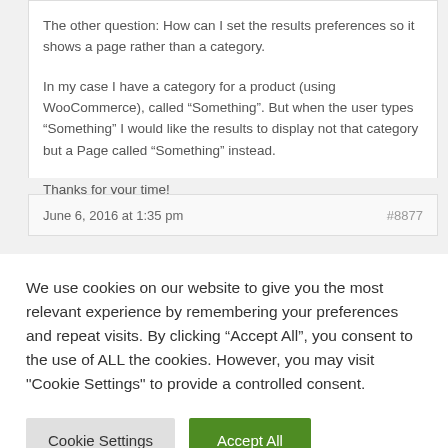The other question: How can I set the results preferences so it shows a page rather than a category.

In my case I have a category for a product (using WooCommerce), called “Something”. But when the user types “Something” I would like the results to display not that category but a Page called “Something” instead.

Thanks for your time!
R.
June 6, 2016 at 1:35 pm   #8877
We use cookies on our website to give you the most relevant experience by remembering your preferences and repeat visits. By clicking “Accept All”, you consent to the use of ALL the cookies. However, you may visit "Cookie Settings" to provide a controlled consent.